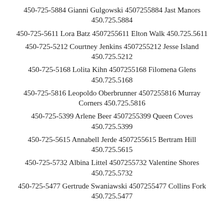450-725-5884 Gianni Gulgowski 4507255884 Jast Manors 450.725.5884
450-725-5611 Lora Batz 4507255611 Elton Walk 450.725.5611
450-725-5212 Courtney Jenkins 4507255212 Jesse Island 450.725.5212
450-725-5168 Lolita Kihn 4507255168 Filomena Glens 450.725.5168
450-725-5816 Leopoldo Oberbrunner 4507255816 Murray Corners 450.725.5816
450-725-5399 Arlene Beer 4507255399 Queen Coves 450.725.5399
450-725-5615 Annabell Jerde 4507255615 Bertram Hill 450.725.5615
450-725-5732 Albina Littel 4507255732 Valentine Shores 450.725.5732
450-725-5477 Gertrude Swaniawski 4507255477 Collins Fork 450.725.5477